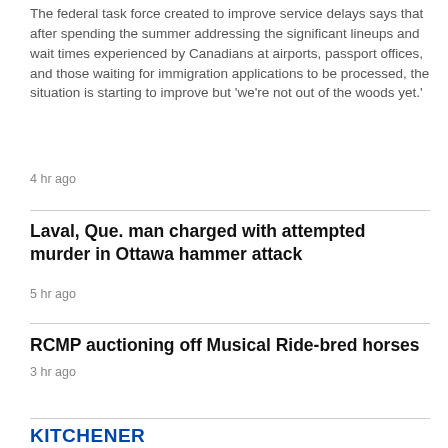The federal task force created to improve service delays says that after spending the summer addressing the significant lineups and wait times experienced by Canadians at airports, passport offices, and those waiting for immigration applications to be processed, the situation is starting to improve but 'we're not out of the woods yet.'
4 hr ago
Laval, Que. man charged with attempted murder in Ottawa hammer attack
5 hr ago
RCMP auctioning off Musical Ride-bred horses
3 hr ago
KITCHENER